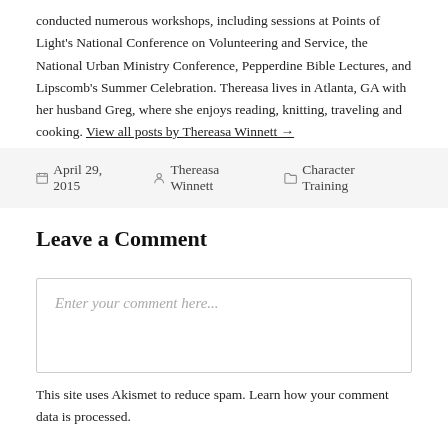conducted numerous workshops, including sessions at Points of Light's National Conference on Volunteering and Service, the National Urban Ministry Conference, Pepperdine Bible Lectures, and Lipscomb's Summer Celebration. Thereasa lives in Atlanta, GA with her husband Greg, where she enjoys reading, knitting, traveling and cooking. View all posts by Thereasa Winnett →
April 29, 2015  Thereasa Winnett  Character Training
Leave a Comment
Enter your comment here...
This site uses Akismet to reduce spam. Learn how your comment data is processed.